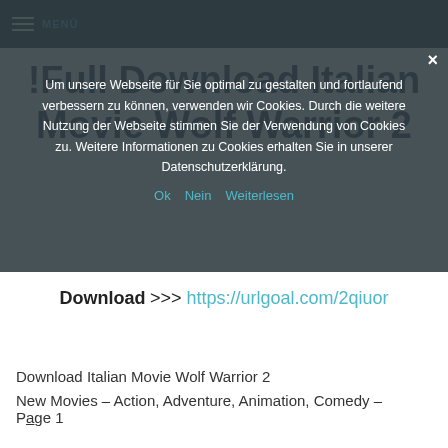MENU
[Figure (screenshot): Cookie consent overlay on a website with German text about cookies and Ok/Nein/Weiterlesen options]
!Full Download Italian Movie Wolf Warrior 2
Download >>> https://urlgoal.com/2qiuor
Download Italian Movie Wolf Warrior 2
New Movies – Action, Adventure, Animation, Comedy – Page 1